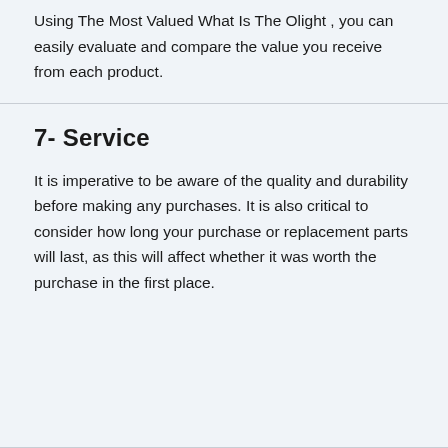Using The Most Valued What Is The Olight , you can easily evaluate and compare the value you receive from each product.
7- Service
It is imperative to be aware of the quality and durability before making any purchases. It is also critical to consider how long your purchase or replacement parts will last, as this will affect whether it was worth the purchase in the first place.